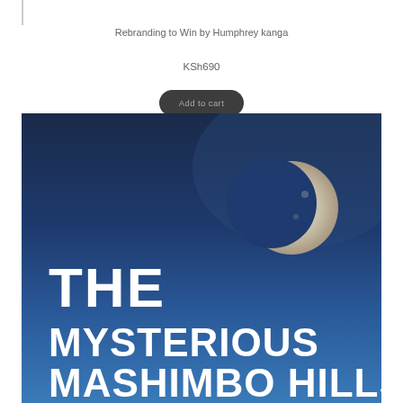Rebranding to Win by Humphrey kanga
KSh690
Add to cart
[Figure (illustration): Book cover for 'The Mysterious Mashimbo Hills' showing a crescent moon against a deep blue night sky with bold white text displaying the title.]